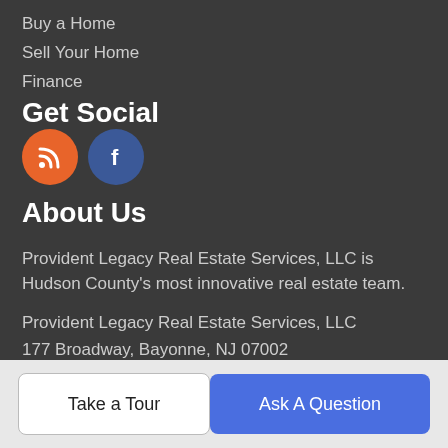Buy a Home
Sell Your Home
Finance
Get Social
[Figure (illustration): Two social media icon circles: an orange RSS icon and a blue Facebook icon]
About Us
Provident Legacy Real Estate Services, LLC is Hudson County's most innovative real estate team.
Provident Legacy Real Estate Services, LLC
177 Broadway, Bayonne, NJ 07002
📞 201-809-9925
Take a Tour
Ask A Question